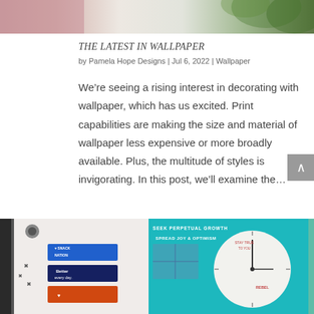[Figure (photo): Top portion of a decorative image showing pink/floral wallpaper on left and green foliage on right]
THE LATEST IN WALLPAPER
by Pamela Hope Designs | Jul 6, 2022 | Wallpaper
We’re seeing a rising interest in decorating with wallpaper, which has us excited. Print capabilities are making the size and material of wallpaper less expensive or more broadly available. Plus, the multitude of styles is invigorating. In this post, we’ll examine the…
[Figure (photo): Two interior office photos side by side: left shows a wall with a camera, colored snack boxes (Snack Nation, Better every day, orange branded box), right shows a teal wall with a large circular clock and motivational text SEEK PERPETUAL GROWTH, SPREAD JOY & OPTIMISM]